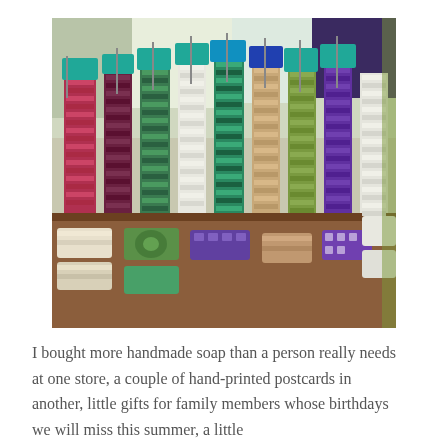[Figure (photo): A display of colorful handmade soaps arranged in stacked rows on a wooden table. Many varieties of soap bars in colors including red, green, teal, blue, white, purple, and multicolored patterns are stacked vertically. Small blue glass tags hang from the top of each stack. Some flat soap bars are arranged at the front of the display.]
I bought more handmade soap than a person really needs at one store, a couple of hand-printed postcards in another, little gifts for family members whose birthdays we will miss this summer, a little